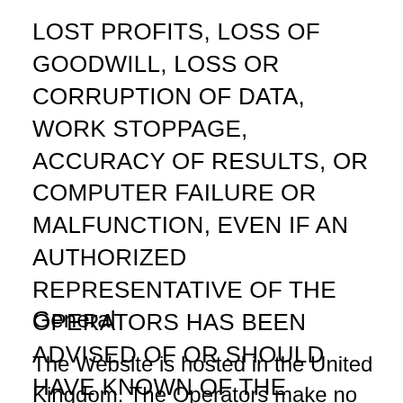LOST PROFITS, LOSS OF GOODWILL, LOSS OR CORRUPTION OF DATA, WORK STOPPAGE, ACCURACY OF RESULTS, OR COMPUTER FAILURE OR MALFUNCTION, EVEN IF AN AUTHORIZED REPRESENTATIVE OF THE OPERATORS HAS BEEN ADVISED OF OR SHOULD HAVE KNOWN OF THE POSSIBILITY OF SUCH DAMAGES.
General
The Website is hosted in the United Kingdom. The Operators make no claims that the